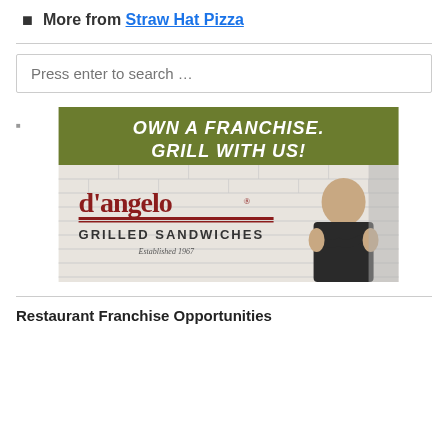More from Straw Hat Pizza
[Figure (illustration): Search box with placeholder text 'Press enter to search …']
[Figure (photo): D'Angelo Grilled Sandwiches franchise advertisement. Green banner at top reads 'OWN A FRANCHISE. GRILL WITH US!' in white handwritten font. Below shows a man with arms crossed wearing a black D'Angelo polo shirt, standing in front of a brick wall with the D'Angelo Grilled Sandwiches logo and 'Established 1967'.]
Restaurant Franchise Opportunities